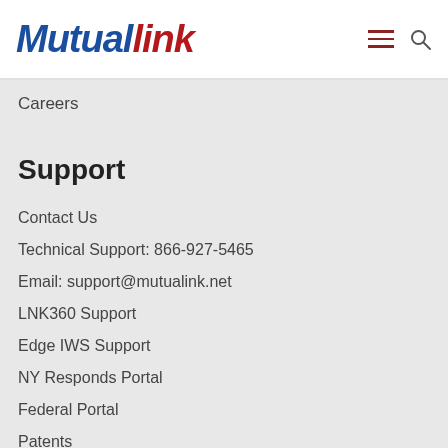Mutualink
Careers
Support
Contact Us
Technical Support: 866-927-5465
Email: support@mutualink.net
LNK360 Support
Edge IWS Support
NY Responds Portal
Federal Portal
Patents
Contracts